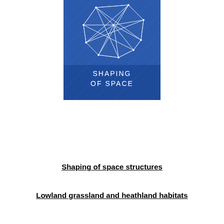[Figure (illustration): A blue geometric 3D mesh/polyhedron illustration with white lines on a blue background. Text reads 'SHAPING OF SPACE' in white letters at the bottom of the image.]
Shaping of space structures
Lowland grassland and heathland habitats
Minnesota Supreme Court Advisory Task Force on Visitation and Child Support Enforcement
[Figure (photo): A partial photo visible at the bottom of the page, appears to show a colorful abstract or nature image.]